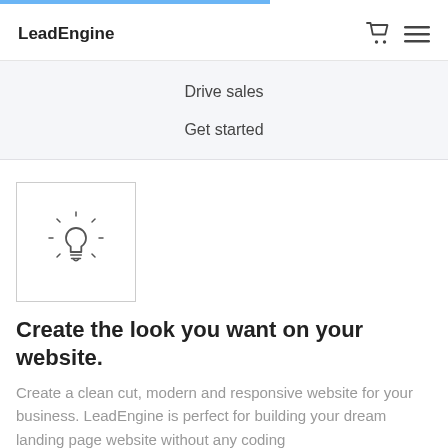LeadEngine
Drive sales
Get started
[Figure (illustration): Lightbulb icon in a rounded square box]
Create the look you want on your website.
Create a clean cut, modern and responsive website for your business. LeadEngine is perfect for building your dream landing page website without any coding